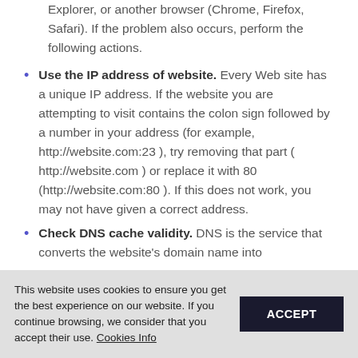Explorer, or another browser (Chrome, Firefox, Safari). If the problem also occurs, perform the following actions.
Use the IP address of website. Every Web site has a unique IP address. If the website you are attempting to visit contains the colon sign followed by a number in your address (for example, http://website.com:23 ), try removing that part ( http://website.com ) or replace it with 80 (http://website.com:80 ). If this does not work, you may not have given a correct address.
Check DNS cache validity. DNS is the service that converts the website's domain name into
This website uses cookies to ensure you get the best experience on our website. If you continue browsing, we consider that you accept their use. Cookies Info